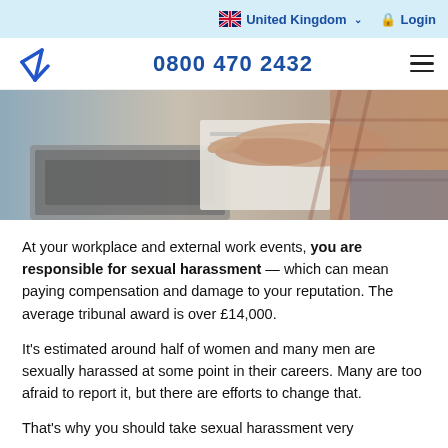United Kingdom  Login
0800 470 2432
[Figure (photo): Close-up photo of hands pointing at a laptop and paper document on a desk]
At your workplace and external work events, you are responsible for sexual harassment — which can mean paying compensation and damage to your reputation. The average tribunal award is over £14,000.
It's estimated around half of women and many men are sexually harassed at some point in their careers. Many are too afraid to report it, but there are efforts to change that.
That's why you should take sexual harassment very